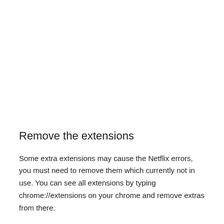Remove the extensions
Some extra extensions may cause the Netflix errors, you must need to remove them which currently not in use. You can see all extensions by typing chrome://extensions on your chrome and remove extras from there.